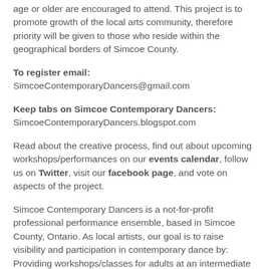age or older are encouraged to attend. This project is to promote growth of the local arts community, therefore priority will be given to those who reside within the geographical borders of Simcoe County.
To register email:
SimcoeContemporaryDancers@gmail.com
Keep tabs on Simcoe Contemporary Dancers:
SimcoeContemporaryDancers.blogspot.com
Read about the creative process, find out about upcoming workshops/performances on our events calendar, follow us on Twitter, visit our facebook page, and vote on aspects of the project.
Simcoe Contemporary Dancers is a not-for-profit professional performance ensemble, based in Simcoe County, Ontario. As local artists, our goal is to raise visibility and participation in contemporary dance by: Providing workshops/classes for adults at an intermediate to advanced level of training; creating and performing works that are